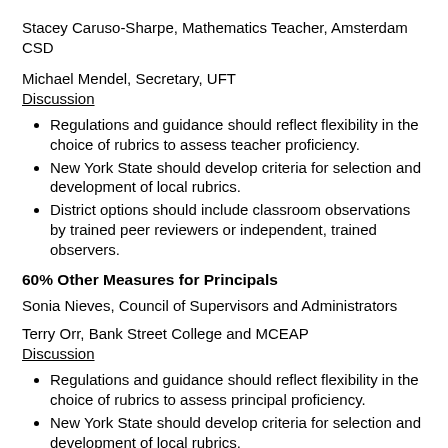Stacey Caruso-Sharpe, Mathematics Teacher, Amsterdam CSD
Michael Mendel, Secretary, UFT
Discussion
Regulations and guidance should reflect flexibility in the choice of rubrics to assess teacher proficiency.
New York State should develop criteria for selection and development of local rubrics.
District options should include classroom observations by trained peer reviewers or independent, trained observers.
60% Other Measures for Principals
Sonia Nieves, Council of Supervisors and Administrators
Terry Orr, Bank Street College and MCEAP
Discussion
Regulations and guidance should reflect flexibility in the choice of rubrics to assess principal proficiency.
New York State should develop criteria for selection and development of local rubrics.